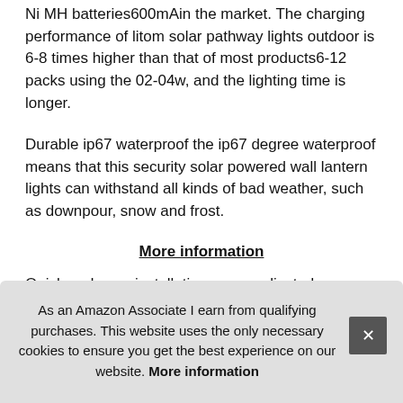Ni MH batteries600mAin the market. The charging performance of litom solar pathway lights outdoor is 6-8 times higher than that of most products6-12 packs using the 02-04w, and the lighting time is longer.
Durable ip67 waterproof the ip67 degree waterproof means that this security solar powered wall lantern lights can withstand all kinds of bad weather, such as downpour, snow and frost.
More information
Quick and easy installation no complicated structure, coming with...
As an Amazon Associate I earn from qualifying purchases. This website uses the only necessary cookies to ensure you get the best experience on our website. More information